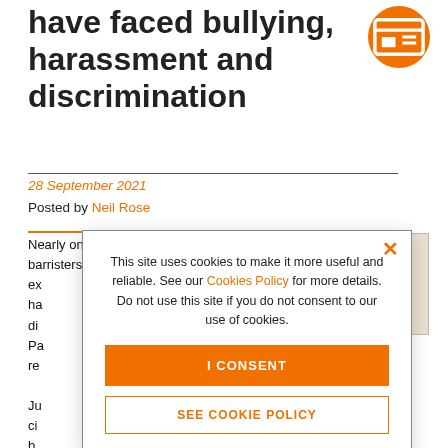have faced bullying, harassment and discrimination
28 September 2021
Posted by Neil Rose
Nearly one in three barristers have personal ex... ha... di... Pa... re...
[Figure (photo): Photo of a person's head/hair from behind]
Ju... ci... b... in... p...
This site uses cookies to make it more useful and reliable. See our Cookies Policy for more details. Do not use this site if you do not consent to our use of cookies.
I CONSENT
SEE COOKIE POLICY